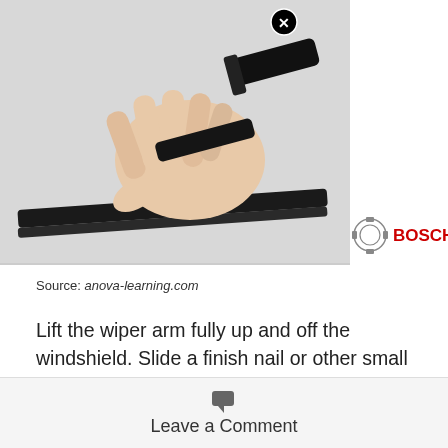[Figure (photo): A hand holding and separating a windshield wiper blade assembly, showing two components being pulled apart. The Bosch logo appears in the lower right of the image. A video close button (X in a circle) is visible at the top.]
Source: anova-learning.com
Lift the wiper arm fully up and off the windshield. Slide a finish nail or other small diameter pin all the way through both of the clip’s side holes.
Leave a Comment